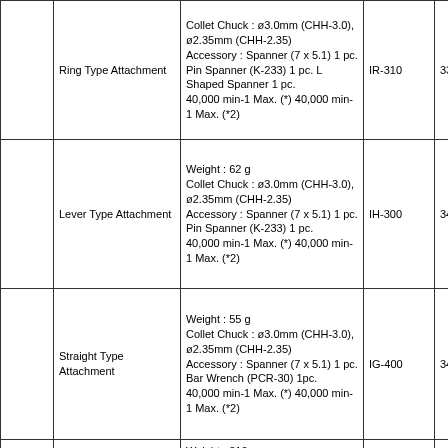| (image) | Name | Specifications | Model | Order No. |
| --- | --- | --- | --- | --- |
|  | Ring Type Attachment | Collet Chuck : ø3.0mm (CHH-3.0), ø2.35mm (CHH-2.35)
Accessory : Spanner (7 x 5.1) 1 pc. Pin Spanner (K-233) 1 pc. L Shaped Spanner 1 pc.
40,000 min-1 Max. (*) 40,000 min-1 Max. (*2) | IR-310 | 339937 |
|  | Lever Type Attachment | Weight : 62 g
Collet Chuck : ø3.0mm (CHH-3.0), ø2.35mm (CHH-2.35)
Accessory : Spanner (7 x 5.1) 1 pc. Pin Spanner (K-233) 1 pc.
40,000 min-1 Max. (*) 40,000 min-1 Max. (*2) | IH-300 | 340271 |
|  | Straight Type Attachment | Weight : 55 g
Collet Chuck : ø3.0mm (CHH-3.0), ø2.35mm (CHH-2.35)
Accessory : Spanner (7 x 5.1) 1 pc. Bar Wrench (PCR-30) 1pc.
40,000 min-1 Max. (*) 40,000 min-1 Max. (*2) | IG-400 | 340410 |
|  | 6 mm Torque Type Attachment | Weight : 210 g
Collet Chuck : ø6.0mm (CHG-6.0)
Accessory : Spanner (10 x 10) 1 pc. Bar Wrench (K-212) 1 pc. Pin Spanner (K-233) 1 pc.
* Use 6mm torque Type HG-200 to connect ENK-350T... | HG-200 | 340242 |